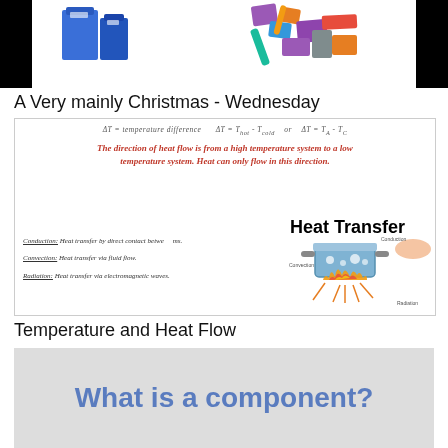[Figure (illustration): Top banner showing illustrated office/school supply items (folders, boxes) on white background with black bars on sides]
A Very mainly Christmas - Wednesday
[Figure (infographic): Heat transfer educational diagram showing formula delta T = temperature difference, delta T = T_hot - T_cold or delta T = T_A - T_C, italic red text about heat flow direction, and a Heat Transfer diagram showing conduction, convection, radiation with a pot on flame illustration. Lists: Conduction: Heat transfer by direct contact between items. Convection: Heat transfer via fluid flow. Radiation: Heat transfer via electromagnetic waves.]
Temperature and Heat Flow
[Figure (infographic): Gray background box with large blue bold text reading 'What is a component?']